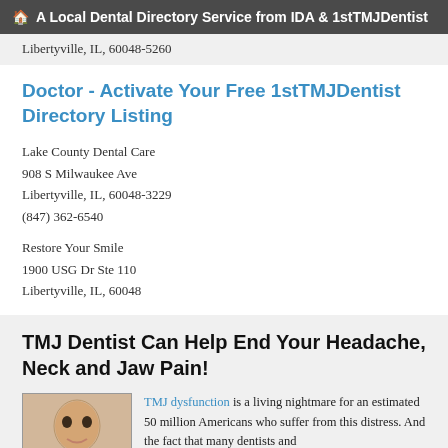A Local Dental Directory Service from IDA & 1stTMJDentist
Libertyville, IL, 60048-5260
Doctor - Activate Your Free 1stTMJDentist Directory Listing
Lake County Dental Care
908 S Milwaukee Ave
Libertyville, IL, 60048-3229
(847) 362-6540
Restore Your Smile
1900 USG Dr Ste 110
Libertyville, IL, 60048
TMJ Dentist Can Help End Your Headache, Neck and Jaw Pain!
[Figure (photo): Photo of a smiling man, presumably a dental patient or doctor]
TMJ dysfunction is a living nightmare for an estimated 50 million Americans who suffer from this distress. And the fact that many dentists and